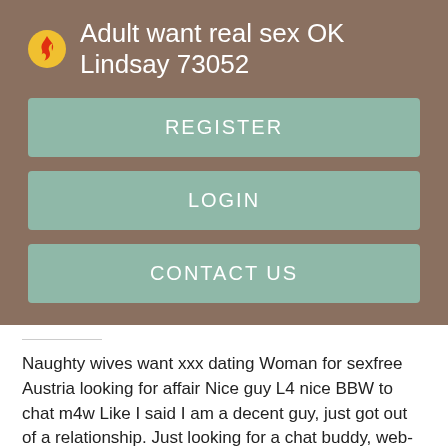Adult want real sex OK Lindsay 73052
REGISTER
LOGIN
CONTACT US
Naughty wives want xxx dating Woman for sexfree Austria looking for affair Nice guy L4 nice BBW to chat m4w Like I said I am a decent guy, just got out of a relationship. Just looking for a chat buddy, web-cam chat, hang out. If it becomes something more cool but I like the big gurls 8 d for older women no skinny mini's need 2 apply.